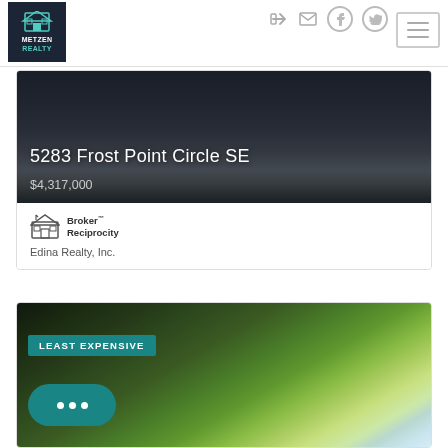[Figure (logo): Metzen Realty logo - dark background with house icon and teal accent]
[Figure (screenshot): Navigation icons: login arrow, envelope, Facebook circle, Twitter circle, and hamburger menu button]
[Figure (photo): Property photo of 5283 Frost Point Circle SE showing dark driveway and landscaping]
5283 Frost Point Circle SE
$4,317,000
[Figure (logo): Broker Reciprocity logo with house icon]
Edina Realty, Inc.
[Figure (photo): Property photo with trees and sky, tagged LEAST EXPENSIVE]
LEAST EXPENSIVE